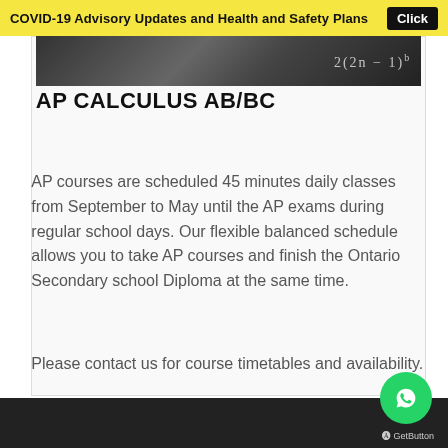COVID-19 Advisory Updates and Health and Safety Plans   Click
[Figure (photo): Dark chalkboard with math equations written in chalk]
AP CALCULUS AB/BC
AP courses are scheduled 45 minutes daily classes from September to May until the AP exams during regular school days. Our flexible balanced schedule allows you to take AP courses and finish the Ontario Secondary school Diploma at the same time.
Please contact us for course timetables and availability.
GetButton